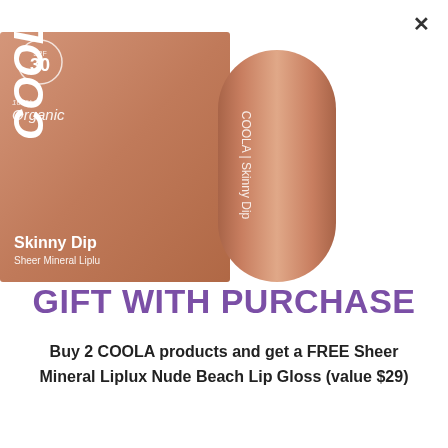[Figure (photo): COOLA Skinny Dip Sheer Mineral Liplux product box and lip balm stick in rose/terracotta color, SPF 30, 100% Organic label visible on packaging]
GIFT WITH PURCHASE
Buy 2 COOLA products and get a FREE Sheer Mineral Liplux Nude Beach Lip Gloss (value $29)